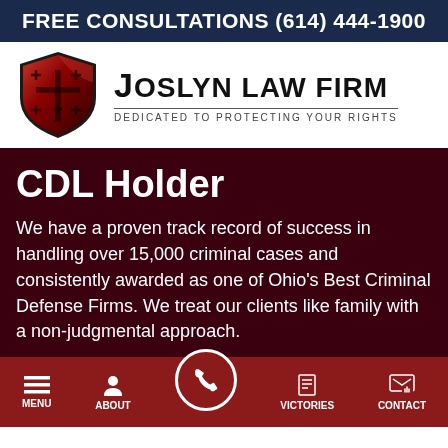FREE CONSULTATIONS (614) 444-1900
[Figure (logo): Joslyn Law Firm logo with red shield bearing crosses and firm name 'Joslyn Law Firm - Dedicated to Protecting Your Rights']
CDL Holder
We have a proven track record of success in handling over 15,000 criminal cases and consistently awarded as one of Ohio's Best Criminal Defense Firms. We treat our clients like family with a non-judgmental approach.
MENU  ABOUT  [call button]  VICTORIES  CONTACT